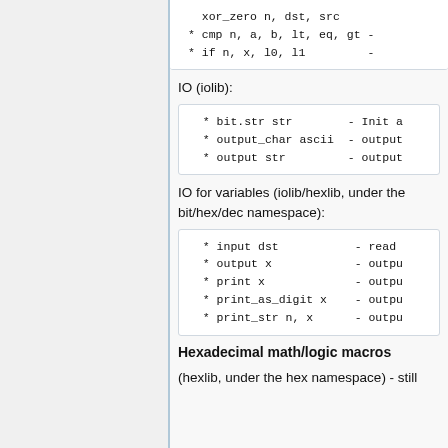xor_zero n, dst, src
* cmp n, a, b, lt, eq, gt -
* if n, x, l0, l1         -
IO (iolib):
* bit.str str        - Init a
* output_char ascii  - output
* output str         - output
IO for variables (iolib/hexlib, under the bit/hex/dec namespace):
* input dst           - read
* output x            - outpu
* print x             - outpu
* print_as_digit x    - outpu
* print_str n, x      - outpu
Hexadecimal math/logic macros
(hexlib, under the hex namespace) - still